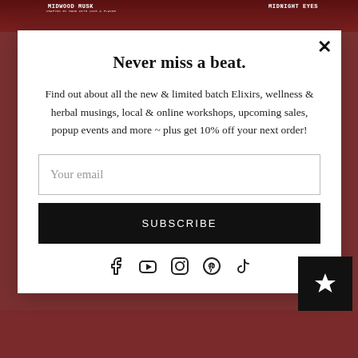[Figure (screenshot): Background photo showing product tins labeled MIDWOOD MUSK and MIDNIGHT EYES, partially visible behind a white modal popup.]
Never miss a beat.
Find out about all the new & limited batch Elixirs, wellness & herbal musings, local & online workshops, upcoming sales, popup events and more ~ plus get 10% off your next order!
Your email
SUBSCRIBE
[Figure (infographic): Social media icons row: Facebook, YouTube, Instagram, Pinterest, TikTok]